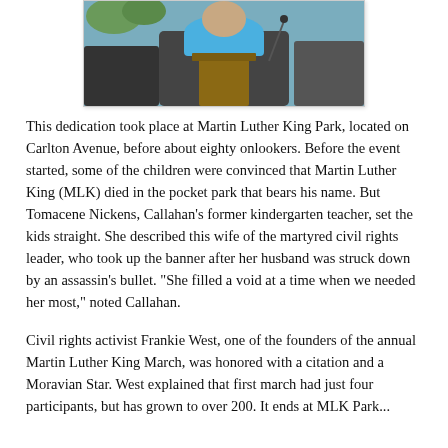[Figure (photo): A person speaking at a wooden podium, wearing a blue scarf, photographed from the chest up.]
This dedication took place at Martin Luther King Park, located on Carlton Avenue, before about eighty onlookers. Before the event started, some of the children were convinced that Martin Luther King (MLK) died in the pocket park that bears his name. But Tomacene Nickens, Callahan's former kindergarten teacher, set the kids straight. She described this wife of the martyred civil rights leader, who took up the banner after her husband was struck down by an assassin's bullet. "She filled a void at a time when we needed her most," noted Callahan.
Civil rights activist Frankie West, one of the founders of the annual Martin Luther King March, was honored with a citation and a Moravian Star. West explained that first march had just four participants, but has grown to over 200. It ends at MLK Park...